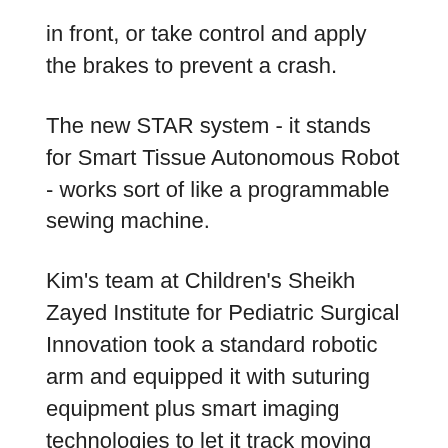in front, or take control and apply the brakes to prevent a crash.
The new STAR system - it stands for Smart Tissue Autonomous Robot - works sort of like a programmable sewing machine.
Kim's team at Children's Sheikh Zayed Institute for Pediatric Surgical Innovation took a standard robotic arm and equipped it with suturing equipment plus smart imaging technologies to let it track moving tissue in 3-D and with an equivalent of night vision. They added sensors to help guide each stitch and tell how tightly to pull.
The surgeon places fluorescent markers on the tissue that needs stitching, and the robot takes aim so